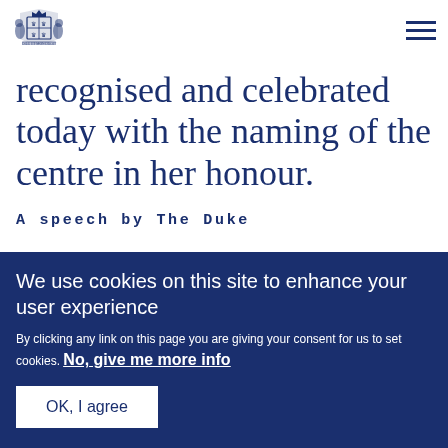[Figure (logo): Royal coat of arms crest in dark navy blue]
recognised and celebrated today with the naming of the centre in her honour.
A speech by The Duke
We use cookies on this site to enhance your user experience
By clicking any link on this page you are giving your consent for us to set cookies. No, give me more info
OK, I agree